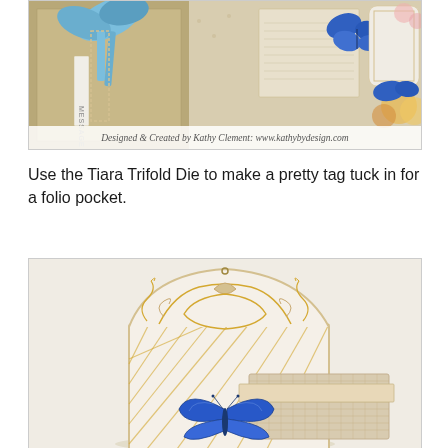[Figure (photo): Craft project photo showing a decorative folio/book with blue ribbon, floral papers, butterflies, and vintage-style embellishments. Caption reads: Designed & Created by Kathy Clement: www.kathybydesign.com]
Designed & Created by Kathy Clement: www.kathybydesign.com
Use the Tiara Trifold Die to make a pretty tag tuck in for a folio pocket.
[Figure (photo): Craft project photo showing a decorative die-cut Tiara Trifold tag with ornate scrollwork, a diamond pattern lower section, and a blue butterfly embellishment with a textured burlap-style card pocket insert.]